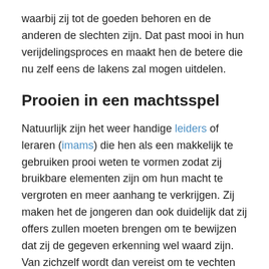waarbij zij tot de goeden behoren en de anderen de slechten zijn. Dat past mooi in hun verijdelingsproces en maakt hen de betere die nu zelf eens de lakens zal mogen uitdelen.
Prooien in een machtsspel
Natuurlijk zijn het weer handige leiders of leraren (imams) die hen als een makkelijk te gebruiken prooi weten te vormen zodat zij bruikbare elementen zijn om hun macht te vergroten en meer aanhang te verkrijgen. Zij maken het de jongeren dan ook duidelijk dat zij offers zullen moeten brengen om te bewijzen dat zij de gegeven erkenning wel waard zijn.  Van zichzelf wordt dan vereist om te vechten voor wat geloofd wordt de waarheid te zijn.